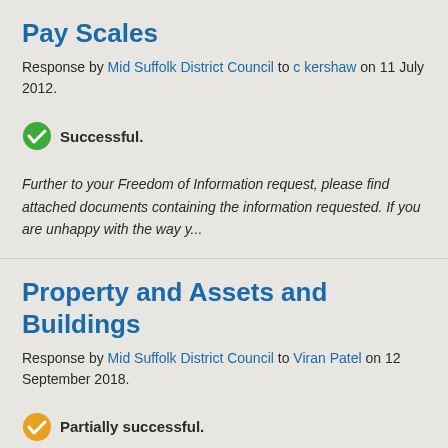Pay Scales
Response by Mid Suffolk District Council to c kershaw on 11 July 2012.
Successful.
Further to your Freedom of Information request, please find attached documents containing the information requested. If you are unhappy with the way y...
Property and Assets and Buildings
Response by Mid Suffolk District Council to Viran Patel on 12 September 2018.
Partially successful.
Dear Viran, We refer to your request for information dated 06/08/2018. We apologise for the delay in our response. Request: b...